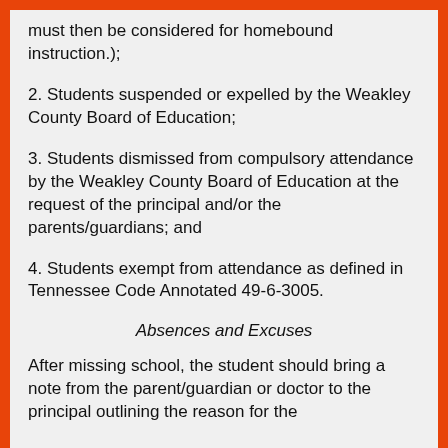must then be considered for homebound instruction.);
2. Students suspended or expelled by the Weakley County Board of Education;
3. Students dismissed from compulsory attendance by the Weakley County Board of Education at the request of the principal and/or the parents/guardians; and
4. Students exempt from attendance as defined in Tennessee Code Annotated 49-6-3005.
Absences and Excuses
After missing school, the student should bring a note from the parent/guardian or doctor to the principal outlining the reason for the